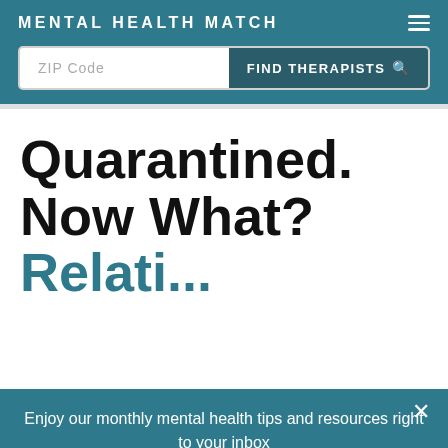MENTAL HEALTH MATCH
ZIP Code | FIND THERAPISTS
Quarantined. Now What?
Enjoy our monthly mental health tips and resources right to your inbox
TYPE YOUR EMAIL
SUBSCRIBE